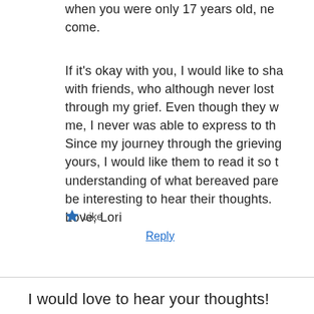when you were only 17 years old, ne come.
If it's okay with you, I would like to sha with friends, who although never lost through my grief. Even though they w me, I never was able to express to th Since my journey through the grieving yours, I would like them to read it so t understanding of what bereaved pare be interesting to hear their thoughts. Love, Lori
Like
Reply
I would love to hear your thoughts!